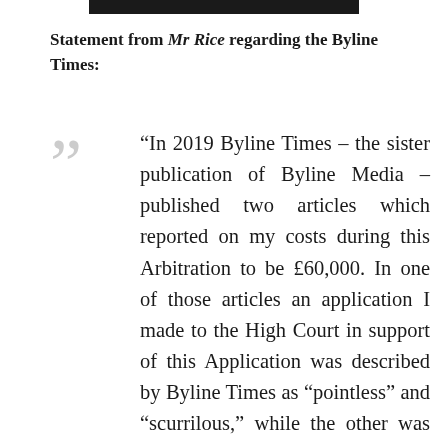Statement from Mr Rice regarding the Byline Times:
“In 2019 Byline Times – the sister publication of Byline Media – published two articles which reported on my costs during this Arbitration to be £60,000. In one of those articles an application I made to the High Court in support of this Application was described by Byline Times as “pointless” and “scurrilous,” while the other was included in an